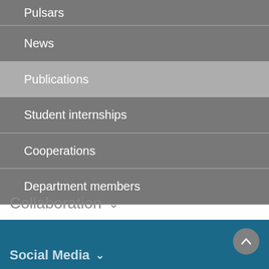Pulsars
News
Publications
Student internships
Cooperations
Department members
Collaboration
Social Media